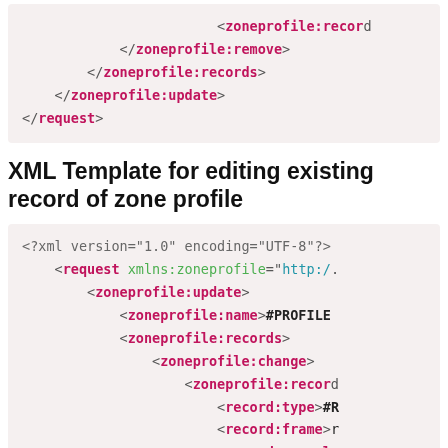<zoneprofile:record ...
    </zoneprofile:remove>
  </zoneprofile:records>
</zoneprofile:update>
</request>
XML Template for editing existing record of zone profile
<?xml version="1.0" encoding="UTF-8"?>
<request xmlns:zoneprofile="http:/...
  <zoneprofile:update>
    <zoneprofile:name>#PROFILE...
    <zoneprofile:records>
      <zoneprofile:change>
        <zoneprofile:record...
          <record:type>#R...
          <record:frame>r...
          <record:newurl...